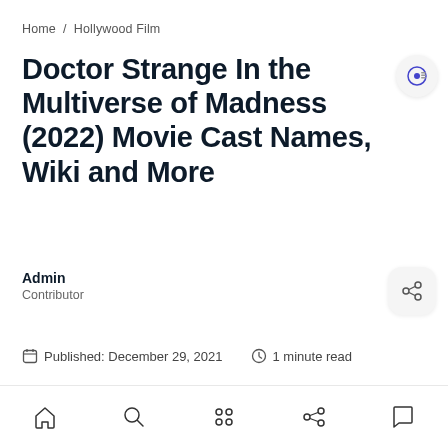Home / Hollywood Film
Doctor Strange In the Multiverse of Madness (2022) Movie Cast Names, Wiki and More
Admin
Contributor
Published: December 29, 2021   1 minute read